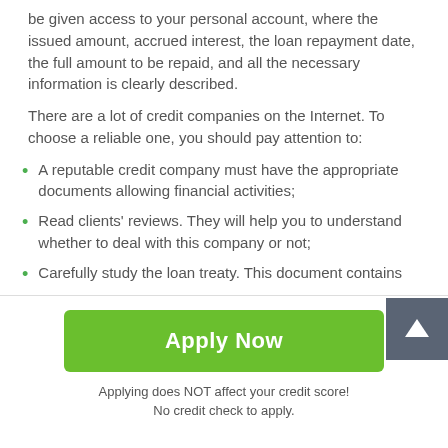be given access to your personal account, where the issued amount, accrued interest, the loan repayment date, the full amount to be repaid, and all the necessary information is clearly described.
There are a lot of credit companies on the Internet. To choose a reliable one, you should pay attention to:
A reputable credit company must have the appropriate documents allowing financial activities;
Read clients' reviews. They will help you to understand whether to deal with this company or not;
Carefully study the loan treaty. This document contains
[Figure (other): Green 'Apply Now' button]
Applying does NOT affect your credit score!
No credit check to apply.